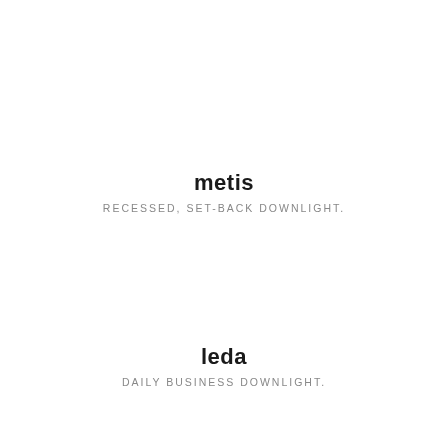metis
RECESSED, SET-BACK DOWNLIGHT.
leda
DAILY BUSINESS DOWNLIGHT.